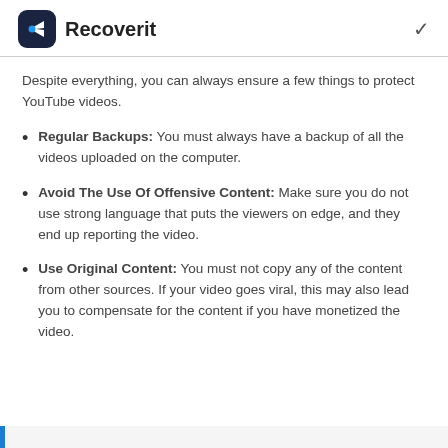Recoverit
Despite everything, you can always ensure a few things to protect YouTube videos.
Regular Backups: You must always have a backup of all the videos uploaded on the computer.
Avoid The Use Of Offensive Content: Make sure you do not use strong language that puts the viewers on edge, and they end up reporting the video.
Use Original Content: You must not copy any of the content from other sources. If your video goes viral, this may also lead you to compensate for the content if you have monetized the video.